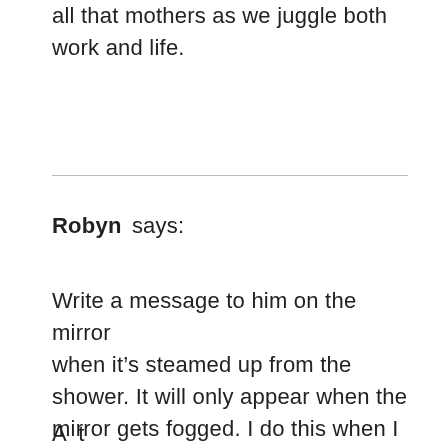all that mothers as we juggle both work and life.
Robyn says:
Write a message to him on the mirror when it's steamed up from the shower. It will only appear when the mirror gets fogged. I do this when I shower so it's a surprise when he takes his shower.
...